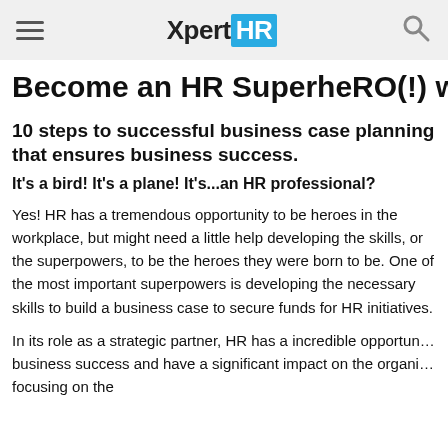XpertHR
Become an HR SuperheRO(!) with Su
10 steps to successful business case planning that ensures business success.
It's a bird! It's a plane! It's...an HR professional?
Yes! HR has a tremendous opportunity to be heroes in the workplace, but might need a little help developing the skills, or the superpowers, to be the heroes they were born to be. One of the most important superpowers is developing the necessary skills to build a business case to secure funds for HR initiatives.
In its role as a strategic partner, HR has a incredible opportunity to drive business success and have a significant impact on the organization by focusing on the